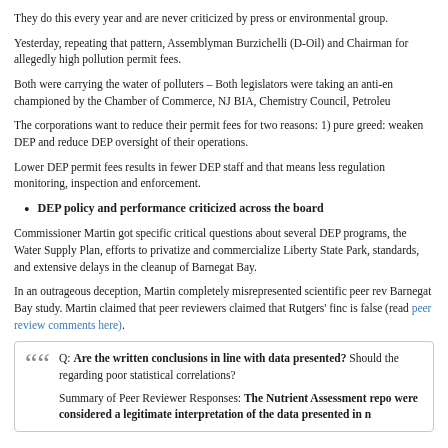They do this every year and are never criticized by press or environmental group.
Yesterday, repeating that pattern, Assemblyman Burzichelli (D-Oil) and Chairman for allegedly high pollution permit fees.
Both were carrying the water of polluters – Both legislators were taking an anti-en championed by the Chamber of Commerce, NJ BIA, Chemistry Council, Petroleu
The corporations want to reduce their permit fees for two reasons: 1) pure greed weaken DEP and reduce DEP oversight of their operations.
Lower DEP permit fees results in fewer DEP staff and that means less regulation monitoring, inspection and enforcement.
DEP policy and performance criticized across the board
Commissioner Martin got specific critical questions about several DEP programs, the Water Supply Plan, efforts to privatize and commercialize Liberty State Park, standards, and extensive delays in the cleanup of Barnegat Bay.
In an outrageous deception, Martin completely misrepresented scientific peer rev Barnegat Bay study. Martin claimed that peer reviewers claimed that Rutgers' finc is false (read peer review comments here).
Q: Are the written conclusions in line with data presented? Should the regarding poor statistical correlations?

Summary of Peer Reviewer Responses: The Nutrient Assessment repo were considered a legitimate interpretation of the data presented in n